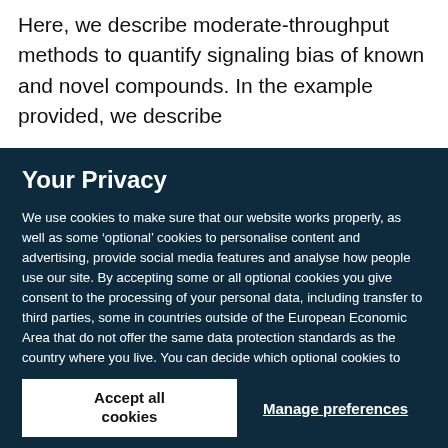Here, we describe moderate-throughput methods to quantify signaling bias of known and novel compounds. In the example provided, we describe
Your Privacy
We use cookies to make sure that our website works properly, as well as some ‘optional’ cookies to personalise content and advertising, provide social media features and analyse how people use our site. By accepting some or all optional cookies you give consent to the processing of your personal data, including transfer to third parties, some in countries outside of the European Economic Area that do not offer the same data protection standards as the country where you live. You can decide which optional cookies to accept by clicking on ‘Manage Settings’, where you can also find more information about how your personal data is processed. Further information can be found in our privacy policy.
Accept all cookies
Manage preferences